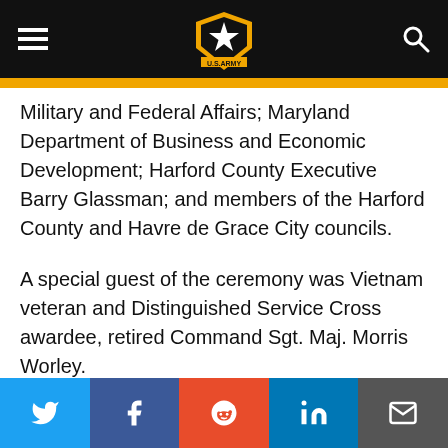U.S. Army navigation header
Military and Federal Affairs; Maryland Department of Business and Economic Development; Harford County Executive Barry Glassman; and members of the Harford County and Havre de Grace City councils.
A special guest of the ceremony was Vietnam veteran and Distinguished Service Cross awardee, retired Command Sgt. Maj. Morris Worley.
The ceremony included the posting of the colors by the APG Directorate of Emergency Services color
Social share bar: Twitter, Facebook, Reddit, LinkedIn, Email